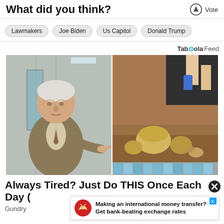What did you think?
Lawmakers
Joe Biden
Us Capitol
Donald Trump
Taboola Feed
[Figure (photo): Composite image: left side shows an elderly man in a suit pointing at something; right side shows hands near small round objects in sandy/rocky terrain]
Always Tired? Just Do THIS Once Each Day (
Gundry
Making an international money transfer? Get bank-beating exchange rates